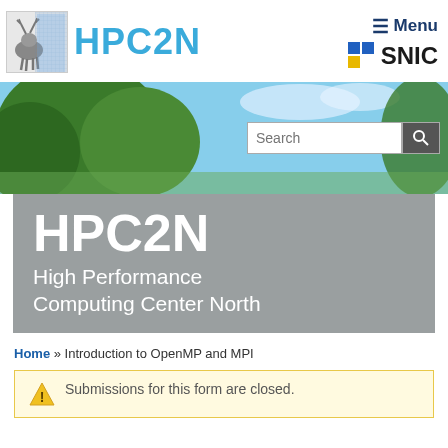HPC2N — High Performance Computing Center North
[Figure (logo): HPC2N logo with deer/moose illustration and blue HPC2N text]
[Figure (logo): SNIC logo with blue and yellow squares and SNIC text]
[Figure (photo): Banner photo of trees and blue sky with search bar overlay]
HPC2N
High Performance Computing Center North
Home » Introduction to OpenMP and MPI
Submissions for this form are closed.